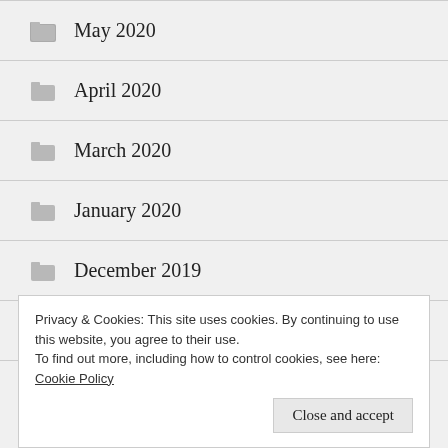May 2020
April 2020
March 2020
January 2020
December 2019
November 2019
October 2019
Privacy & Cookies: This site uses cookies. By continuing to use this website, you agree to their use.
To find out more, including how to control cookies, see here: Cookie Policy
Close and accept